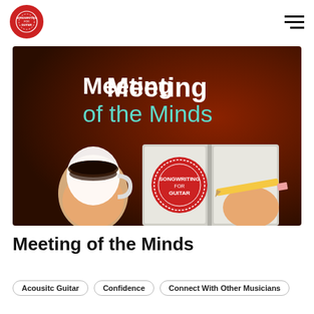[Figure (logo): Songwriting For Guitar circular logo — red circle with white text]
[Figure (illustration): Banner image with dark brown/red gradient background. Large bold white text 'Meeting' and teal/cyan text 'of the Minds'. Illustration shows a hand holding a coffee cup, an open notebook with a red circular 'Songwriting For Guitar' stamp, and a hand writing with a pencil.]
Meeting of the Minds
Acousitc Guitar
Confidence
Connect With Other Musicians